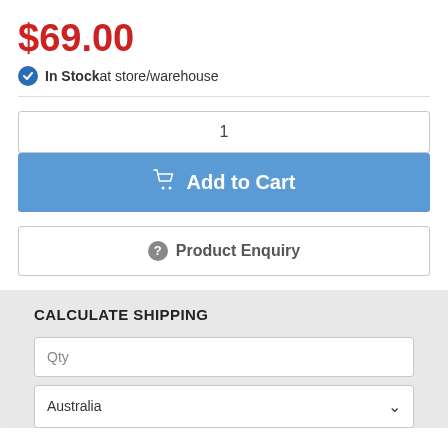$69.00
In Stock at store/warehouse
1
Add to Cart
Product Enquiry
CALCULATE SHIPPING
Qty
Australia